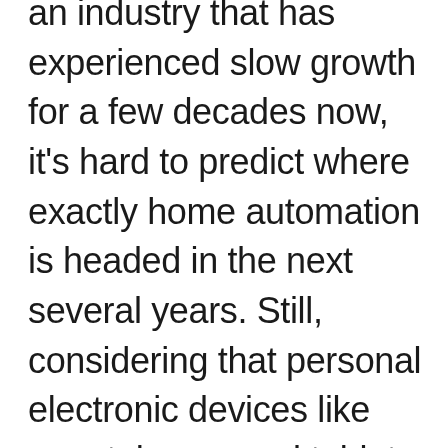an industry that has experienced slow growth for a few decades now, it's hard to predict where exactly home automation is headed in the next several years. Still, considering that personal electronic devices like smartphones and tablets are in our hands or pockets all day long, it seems only natural that home automation—which can easily interact with these personal devices—is close to being just as important to homeowner, too.